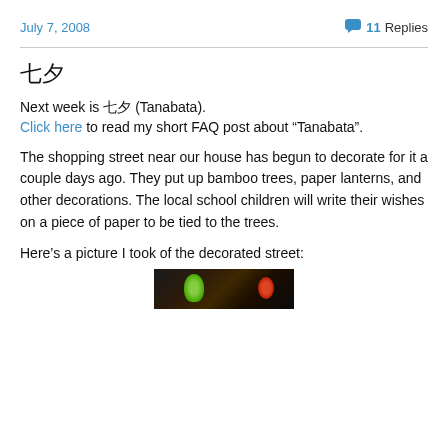July 7, 2008 | 11 Replies
七夕
Next week is 七夕 (Tanabata).
Click here to read my short FAQ post about “Tanabata”.
The shopping street near our house has begun to decorate for it a couple days ago. They put up bamboo trees, paper lanterns, and other decorations. The local school children will write their wishes on a piece of paper to be tied to the trees.
Here’s a picture I took of the decorated street:
[Figure (photo): Partially visible photograph of a decorated street with Tanabata decorations, showing dark background with green and red elements.]